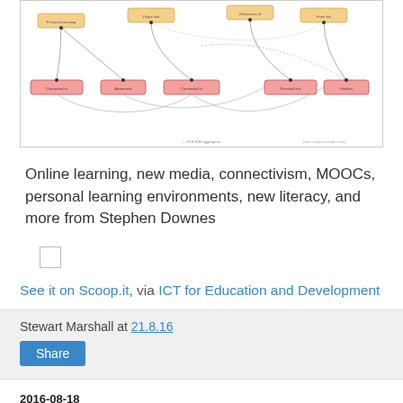[Figure (network-graph): A complex network/flow diagram showing interconnected nodes with arrows, featuring colored boxes (orange, pink) connected by curved lines and arrows, representing some kind of learning or communication network structure.]
Online learning, new media, connectivism, MOOCs, personal learning environments, new literacy, and more from Stephen Downes
See it on Scoop.it, via ICT for Education and Development
Stewart Marshall at 21.8.16
Share
2016-08-18
7 Important Questions Before Implementing Digital Portfolio...